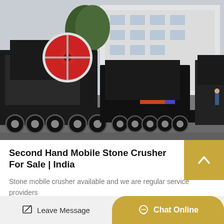[Figure (photo): Multiple mobile stone crusher machines on trailers parked in a factory yard with a white building and trees in the background. The crushers are large industrial machines mounted on multi-axle trailers.]
Second Hand Mobile Stone Crusher For Sale | India
Stone mobile crusher available and we are regular service providers for sourcing and selling second hand mobile crushers and our…